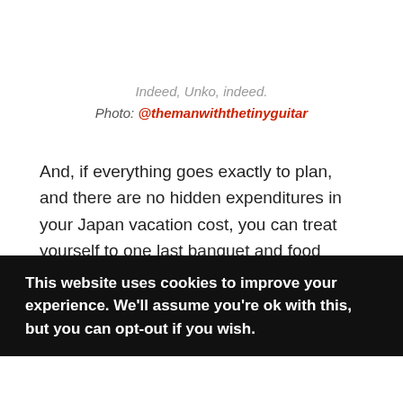Indeed, Unko, indeed.
Photo: @themanwiththetinyguitar
And, if everything goes exactly to plan, and there are no hidden expenditures in your Japan vacation cost, you can treat yourself to one last banquet and food coma at the end of the trip!
This website uses cookies to improve your experience. We'll assume you're ok with this, but you can opt-out if you wish.